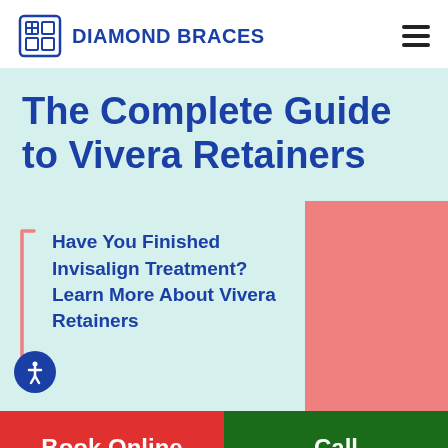DIAMOND BRACES
The Complete Guide to Vivera Retainers
Have You Finished Invisalign Treatment? Learn More About Vivera Retainers
[Figure (other): Salmon/coral pink decorative block on the right side of the page]
Book Online
Call